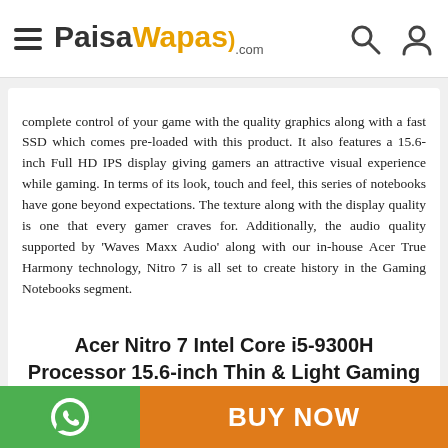PaisaWapas.com
complete control of your game with the quality graphics along with a fast SSD which comes pre-loaded with this product. It also features a 15.6-inch Full HD IPS display giving gamers an attractive visual experience while gaming. In terms of its look, touch and feel, this series of notebooks have gone beyond expectations. The texture along with the display quality is one that every gamer craves for. Additionally, the audio quality supported by 'Waves Maxx Audio' along with our in-house Acer True Harmony technology, Nitro 7 is all set to create history in the Gaming Notebooks segment.
Acer Nitro 7 Intel Core i5-9300H Processor 15.6-inch Thin & Light Gaming 1920 X 1080 Laptop (8 GB RAM/1 TB SSD/ Win 10 /4 GB NVIDIA GeForce GTX 1650/Obsidian Black/2.5 kgs). AN715-51Specifications:
[Figure (logo): WhatsApp icon on green background]
BUY NOW